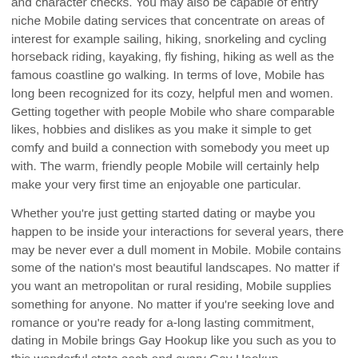and character checks. You may also be capable of entry niche Mobile dating services that concentrate on areas of interest for example sailing, hiking, snorkeling and cycling horseback riding, kayaking, fly fishing, hiking as well as the famous coastline go walking. In terms of love, Mobile has long been recognized for its cozy, helpful men and women. Getting together with people Mobile who share comparable likes, hobbies and dislikes as you make it simple to get comfy and build a connection with somebody you meet up with. The warm, friendly people Mobile will certainly help make your very first time an enjoyable one particular.
Whether you're just getting started dating or maybe you happen to be inside your interactions for several years, there may be never ever a dull moment in Mobile. Mobile contains some of the nation's most beautiful landscapes. No matter if you want an metropolitan or rural residing, Mobile supplies something for anyone. No matter if you're seeking love and romance or you're ready for a-long lasting commitment, dating in Mobile brings Gay Hookup like you such as you to this wonderful state each and every Gay Hookup